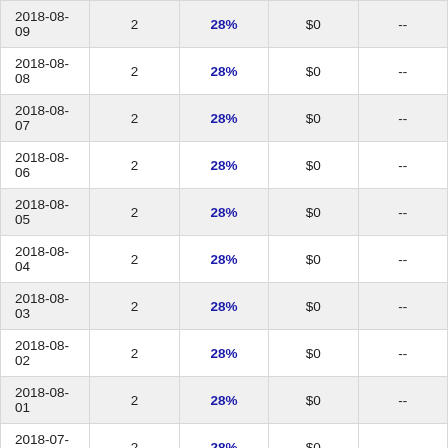| Date | Col2 | Pct | Amount | Col5 |
| --- | --- | --- | --- | --- |
| 2018-08-09 | 2 | 28% | $0 | -- |
| 2018-08-08 | 2 | 28% | $0 | -- |
| 2018-08-07 | 2 | 28% | $0 | -- |
| 2018-08-06 | 2 | 28% | $0 | -- |
| 2018-08-05 | 2 | 28% | $0 | -- |
| 2018-08-04 | 2 | 28% | $0 | -- |
| 2018-08-03 | 2 | 28% | $0 | -- |
| 2018-08-02 | 2 | 28% | $0 | -- |
| 2018-08-01 | 2 | 28% | $0 | -- |
| 2018-07-31 | 2 | 28% | $0 | -- |
| 2018-07-30 | 2 | 28% | $0 | -- |
| 2018-07-29 | 2 | 28% | $0 | -- |
| 2018-07-28 | 2 | 28% | $0 | -- |
| 2018-07-27 | 2 | 28% | $0 | -- |
| 2018-07-26 | 2 | 28% | $0 | -- |
| 2018-07-25 | 2 | 29% | $0 | -- |